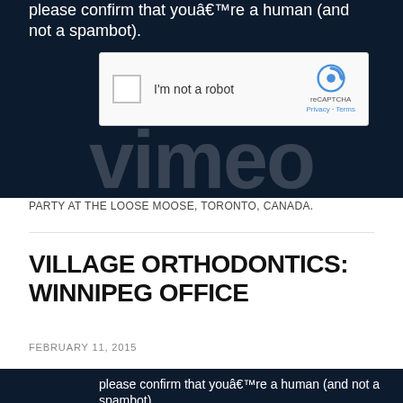[Figure (screenshot): Dark navy background with reCAPTCHA widget showing 'I'm not a robot' checkbox with reCAPTCHA logo, and large faint white logo text in background. Text above reads: 'please confirm that youâ€™re a human (and not a spambot).']
PARTY AT THE LOOSE MOOSE, TORONTO, CANADA.
VILLAGE ORTHODONTICS: WINNIPEG OFFICE
FEBRUARY 11, 2015
[Figure (screenshot): Dark navy background, partial view. Text reads: 'please confirm that youâ€™re a human (and not a spambot).']